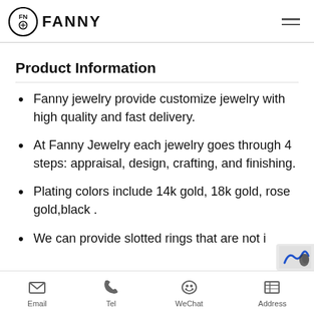FANNY (logo)
Product Information
Fanny jewelry provide customize jewelry with high quality and fast delivery.
At Fanny Jewelry each jewelry goes through 4 steps: appraisal, design, crafting, and finishing.
Plating colors include 14k gold, 18k gold, rose gold,black .
We can provide slotted rings that are not i…
Email   Tel   WeChat   Address